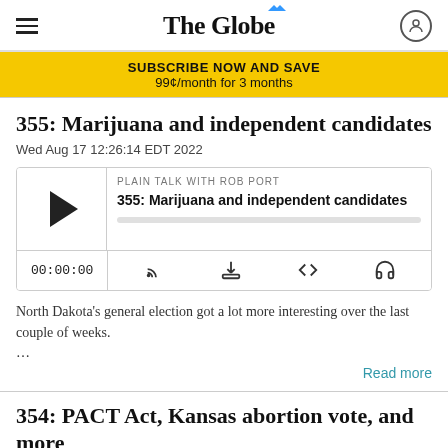The Globe
SUBSCRIBE NOW AND SAVE
99¢/month for 3 months
355: Marijuana and independent candidates
Wed Aug 17 12:26:14 EDT 2022
[Figure (other): Audio player widget for episode 355: Marijuana and independent candidates on Plain Talk with Rob Port. Shows play button, progress bar, timestamp 00:00:00, and playback controls.]
North Dakota's general election got a lot more interesting over the last couple of weeks.
...
Read more
354: PACT Act, Kansas abortion vote, and more
Wed Aug 03 12:05:49 EDT 2022